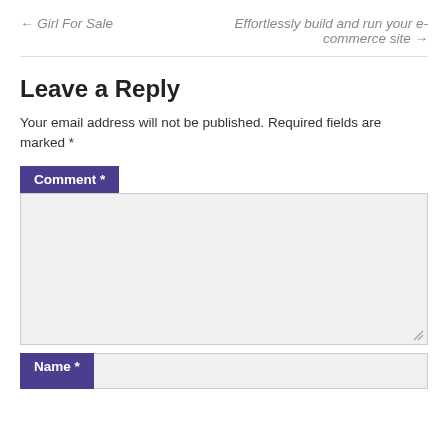← Girl For Sale
Effortlessly build and run your e-commerce site →
Leave a Reply
Your email address will not be published. Required fields are marked *
Comment *
Name *